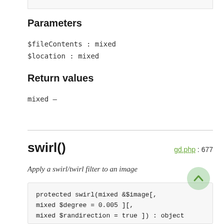Parameters
$fileContents : mixed
$location : mixed
Return values
mixed —
swirl()
gd.php : 677
Apply a swirl/twirl filter to an image
protected swirl(mixed &$image[,
mixed $degree = 0.005 ][,
mixed $randirection = true ]) : object